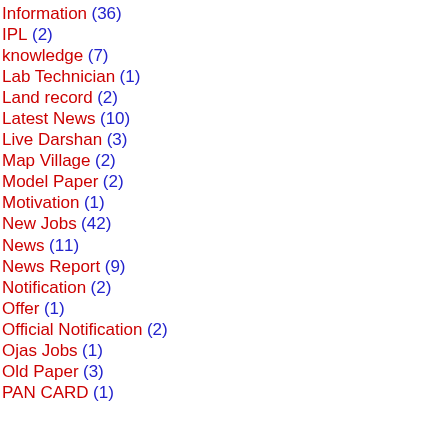Information (36)
IPL (2)
knowledge (7)
Lab Technician (1)
Land record (2)
Latest News (10)
Live Darshan (3)
Map Village (2)
Model Paper (2)
Motivation (1)
New Jobs (42)
News (11)
News Report (9)
Notification (2)
Offer (1)
Official Notification (2)
Ojas Jobs (1)
Old Paper (3)
PAN CARD (1)